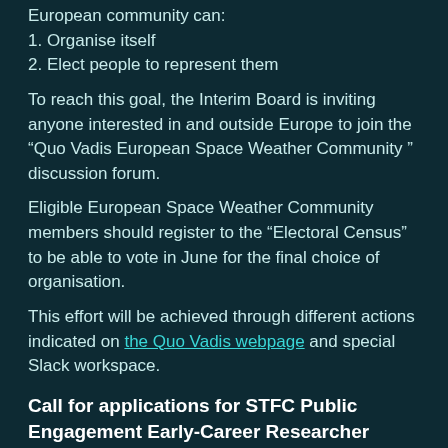European community can:
1. Organise itself
2. Elect people to represent them
To reach this goal, the Interim Board is inviting anyone interested in and outside Europe to join the “Quo Vadis European Space Weather Community ” discussion forum.
Eligible European Space Weather Community members should register to the “Electoral Census” to be able to vote in June for the final choice of organisation.
This effort will be achieved through different actions indicated on the Quo Vadis webpage and special Slack workspace.
Call for applications for STFC Public Engagement Early-Career Researcher Forum
The STFC Public Engagement Early-Career Researcher Forum (the ‘PEER Forum’) will support talented scientists and engineers in the early stages of their career to develop their public engagement and outreach goals, to ensure the next generation of STFC scientists and engineers continue to deliver the highest quality of purposeful, audience-driven public engagement.